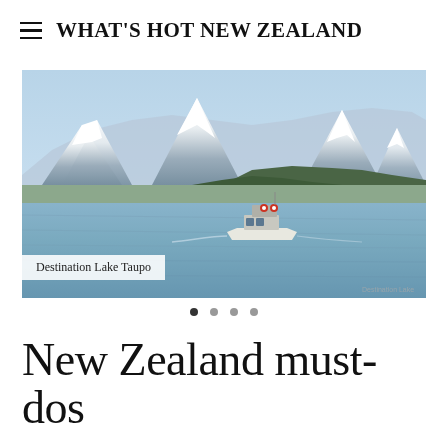WHAT'S HOT NEW ZEALAND
[Figure (photo): A white motorboat cruising on a large blue lake with snow-capped mountains in the background and a forested hillside. Clear blue sky with hazy mountains.]
Destination Lake Taupo
New Zealand must-dos